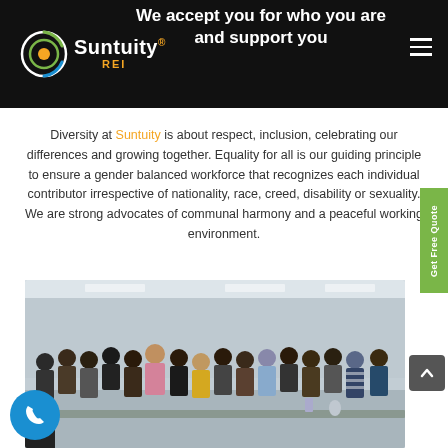We accept you for who you are and support you
[Figure (logo): Suntuity REI logo with circular icon on dark header bar]
Diversity at Suntuity is about respect, inclusion, celebrating our differences and growing together. Equality for all is our guiding principle to ensure a gender balanced workforce that recognizes each individual contributor irrespective of nationality, race, creed, disability or sexuality. We are strong advocates of communal harmony and a peaceful working environment.
[Figure (photo): Group photo of approximately 25-30 employees posing together in an office or conference room setting]